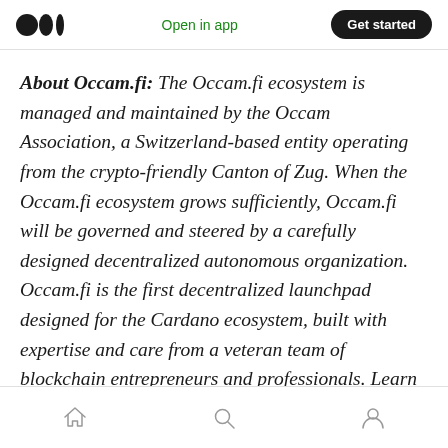Open in app | Get started
About Occam.fi: The Occam.fi ecosystem is managed and maintained by the Occam Association, a Switzerland-based entity operating from the crypto-friendly Canton of Zug. When the Occam.fi ecosystem grows sufficiently, Occam.fi will be governed and steered by a carefully designed decentralized autonomous organization. Occam.fi is the first decentralized launchpad designed for the Cardano ecosystem, built with expertise and care from a veteran team of blockchain entrepreneurs and professionals. Learn more at www.occam.fi.
Home | Search | Profile